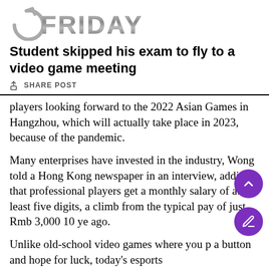FRIDAY
Student skipped his exam to fly to a video game meeting
SHARE POST
players looking forward to the 2022 Asian Games in Hangzhou, which will actually take place in 2023, because of the pandemic.
Many enterprises have invested in the industry, Wong told a Hong Kong newspaper in an interview, adding that professional players get a monthly salary of at least five digits, a climb from the typical pay of just Rmb 3,000 10 years ago.
Unlike old-school video games where you press a button and hope for luck, today's esports